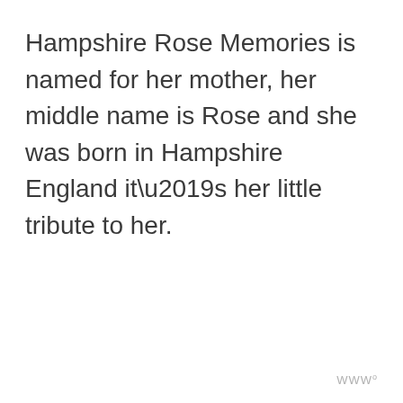Hampshire Rose Memories is named for her mother, her middle name is Rose and she was born in Hampshire England it’s her little tribute to her.
W°